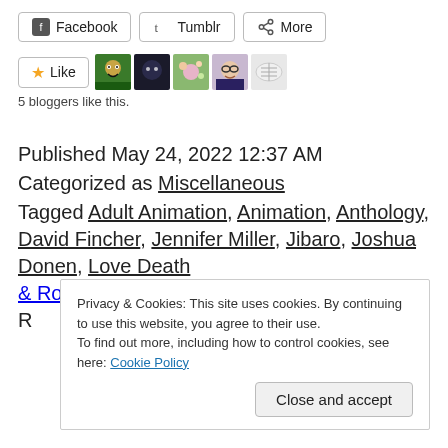[Figure (other): Social share buttons: Facebook, Tumblr, More]
[Figure (other): Like button with star icon, followed by 5 blogger avatar images]
5 bloggers like this.
Published May 24, 2022 12:37 AM
Categorized as Miscellaneous
Tagged Adult Animation, Animation, Anthology, David Fincher, Jennifer Miller, Jibaro, Joshua Donen, Love Death & Robots, Love Death & Robots Season 3, Love Death &
Privacy & Cookies: This site uses cookies. By continuing to use this website, you agree to their use.
To find out more, including how to control cookies, see here: Cookie Policy
Close and accept